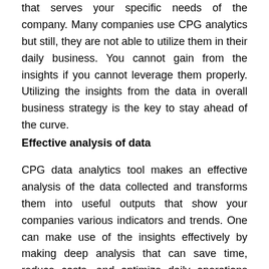that serves your specific needs of the company. Many companies use CPG analytics but still, they are not able to utilize them in their daily business. You cannot gain from the insights if you cannot leverage them properly. Utilizing the insights from the data in overall business strategy is the key to stay ahead of the curve.
Effective analysis of data
CPG data analytics tool makes an effective analysis of the data collected and transforms them into useful outputs that show your companies various indicators and trends. One can make use of the insights effectively by making deep analysis that can save time, reduce costs, and optimize daily operations with effective decision making. You can approach an experienced CPG analytics company that provides you a unique solution for your CPG data analytic requirements to